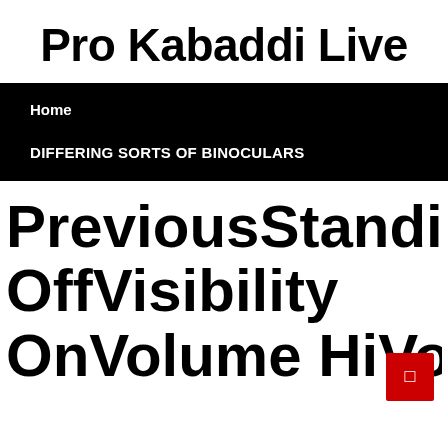Pro Kabaddi Live
Home
DIFFERING SORTS OF BINOCULARS
PreviousStandingsStar OffVisibility OnVolume HiVolum